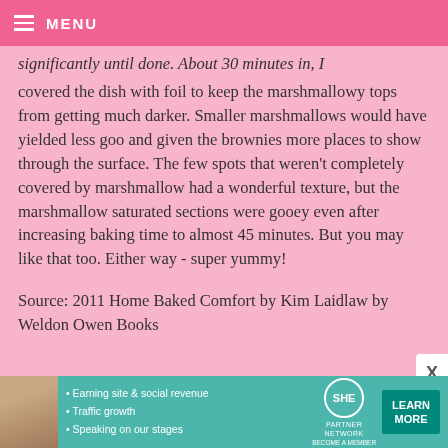MENU
significantly until done. About 30 minutes in, I covered the dish with foil to keep the marshmallowy tops from getting much darker. Smaller marshmallows would have yielded less goo and given the brownies more places to show through the surface. The few spots that weren't completely covered by marshmallow had a wonderful texture, but the marshmallow saturated sections were gooey even after increasing baking time to almost 45 minutes. But you may like that too. Either way - super yummy!
Source: 2011 Home Baked Comfort by Kim Laidlaw by Weldon Owen Books
[Figure (infographic): SHE Partner Network advertisement banner with woman photo, bullet points about earning site & social revenue, traffic growth, speaking on stages, SHE logo circle, and LEARN MORE button in teal]